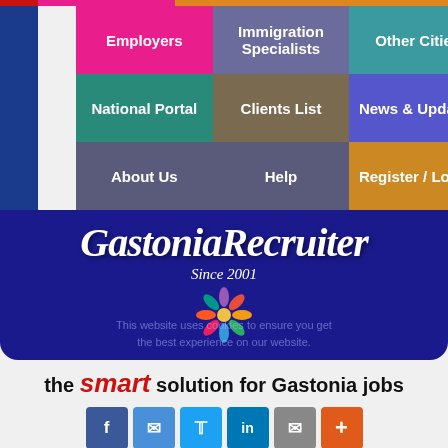[Figure (screenshot): Navigation menu grid with colored cells: Employers (pink), Immigration Specialists (purple), Other Cities (teal), National Portal (teal), Clients List (olive), News & Updates (blue), About Us (slate), Help (slate), Register / Log In (gold)]
GastoniaRecruiter
Since 2001
[Figure (logo): Colorful flower/starburst logo with people figures in multiple colors]
This website uses cookies to ensure you get the best experience on our website.
the smart solution for Gastonia jobs
[Figure (infographic): Social sharing buttons: Facebook, Messenger, Twitter, LinkedIn, Email, Plus]
million+